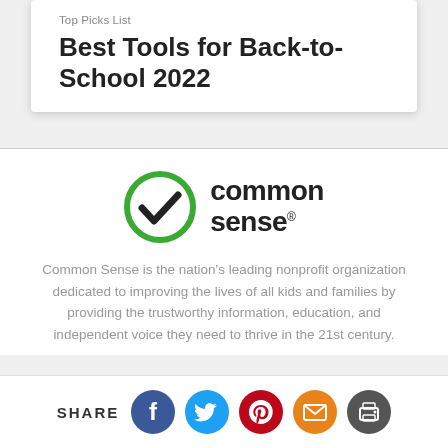Top Picks List
Best Tools for Back-to-School 2022
[Figure (logo): Common Sense logo: green circle with checkmark and 'common sense' text]
Common Sense is the nation's leading nonprofit organization dedicated to improving the lives of all kids and families by providing the trustworthy information, education, and independent voice they need to thrive in the 21st century.
SHARE